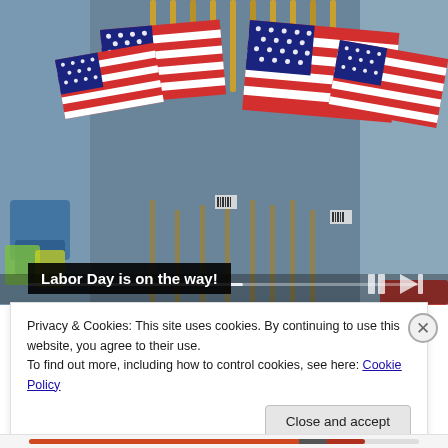[Figure (photo): Multiple small American flags with gold-tipped poles displayed in a retail store, with blurred store shelves in the background. Media player controls visible at the bottom of the image.]
Labor Day is on the way!
Privacy & Cookies: This site uses cookies. By continuing to use this website, you agree to their use.
To find out more, including how to control cookies, see here: Cookie Policy